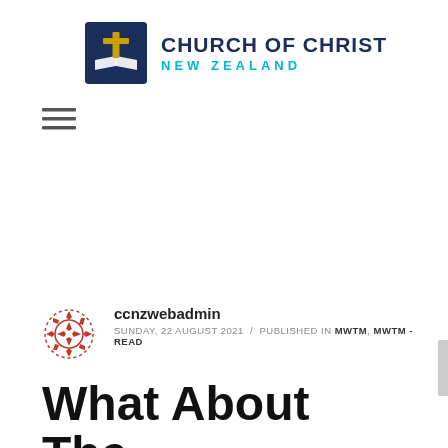[Figure (logo): Church of Christ New Zealand logo: dark navy square icon with a cross and open book, next to bold text 'CHURCH OF CHRIST' in navy and 'NEW ZEALAND' in cyan]
[Figure (other): Hamburger menu icon (three horizontal lines)]
ccnzwebadmin
SUNDAY, 22 AUGUST 2021 / PUBLISHED IN MWTM, MWTM - READ
What About The